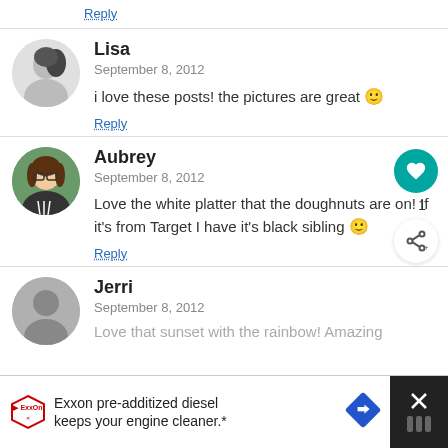Reply
Lisa
September 8, 2012
i love these posts!  the pictures are great 🙂
Reply
Aubrey
September 8, 2012
Love the white platter that the doughnuts are on!  If it's from Target I have it's black sibling 🙂
Reply
Jerri
September 8, 2012
Love that sunset with the rainbow!  Amazing
Exxon pre-additized diesel keeps your engine cleaner.*